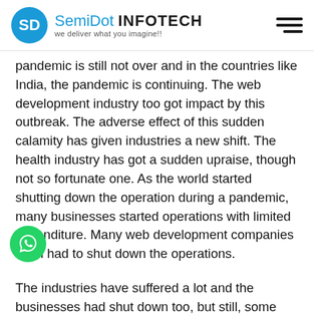SemiDot INFOTECH — we deliver what you imagine!!
pandemic is still not over and in the countries like India, the pandemic is continuing. The web development industry too got impact by this outbreak. The adverse effect of this sudden calamity has given industries a new shift. The health industry has got a sudden upraise, though not so fortunate one. As the world started shutting down the operation during a pandemic, many businesses started operations with limited expenditure. Many web development companies even had to shut down the operations.
The industries have suffered a lot and the businesses had shut down too, but still, some businesses have taken a sudden boot silently. The web development industry has taken sight of benefits on a lighter note. People and industry turned their face towards the